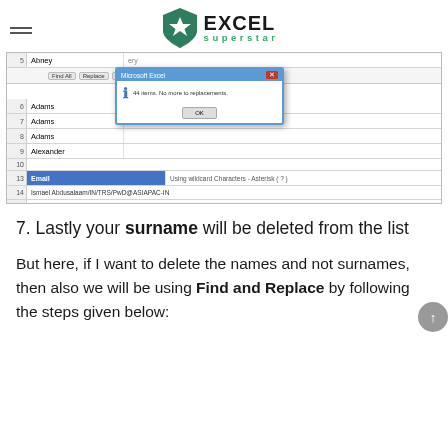Excel Superstar
[Figure (screenshot): Screenshot of Microsoft Excel showing a spreadsheet with surnames (Abney, Adams, Adams, Adams, Alexander) in rows 5-9, a toolbar with options (Find All, Replace, Find All, Check Box, Close), a Microsoft Excel modal dialog box with an information message and OK button, and below rows 13-17 showing email addresses (ismael Abdusalaam/IN/TRS/PwD@ASIAPAC-IN, Jeff Abney/IN/Adv/PwD@LATAM-IN, Jennifer Adams/IN/M&C/PwD@AMERICAS-IN) with label 'Using wildcard Characters - Asterisk (?)']
7. Lastly your surname will be deleted from the list
But here, if I want to delete the names and not surnames, then also we will be using Find and Replace by following the steps given below: